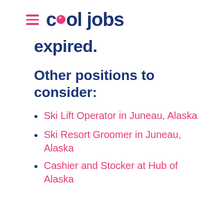cool jobs
expired.
Other positions to consider:
Ski Lift Operator in Juneau, Alaska
Ski Resort Groomer in Juneau, Alaska
Cashier and Stocker at Hub of Alaska